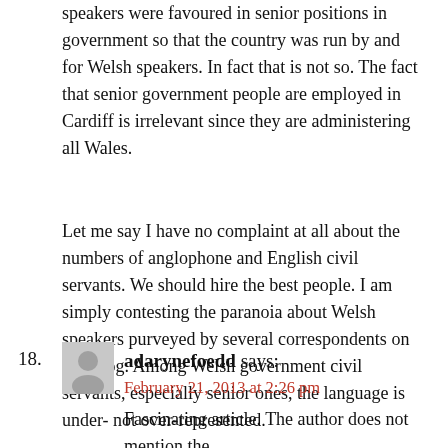speakers were favoured in senior positions in government so that the country was run by and for Welsh speakers. In fact that is not so. The fact that senior government people are employed in Cardiff is irrelevant since they are administering all Wales.
Let me say I have no complaint at all about the numbers of anglophone and English civil servants. We should hire the best people. I am simply contesting the paranoia about Welsh speakers purveyed by several correspondents on this blog. Among Welsh government civil servants, especially senior ones, the language is under- not over-represented.
18. adarynefoedd says: February 21, 2013 at 2:26 pm Fascinating article. The author does not mention the